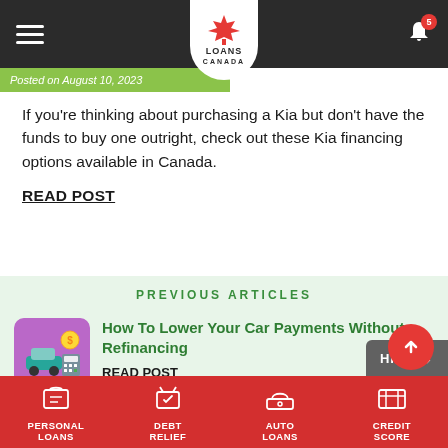Loans Canada navigation bar with logo, hamburger menu, and notification bell (5)
Posted on August 10, 2023
If you're thinking about purchasing a Kia but don't have the funds to buy one outright, check out these Kia financing options available in Canada.
READ POST
PREVIOUS ARTICLES
[Figure (illustration): Purple background thumbnail with car payment illustration showing a car, coins, and calculator]
How To Lower Your Car Payments Without Refinancing
READ POST
[Figure (illustration): Red background thumbnail for 6-month loan article]
Can You Get A 6-Month Loan In Canada
PERSONAL LOANS | DEBT RELIEF | AUTO LOANS | CREDIT SCORE